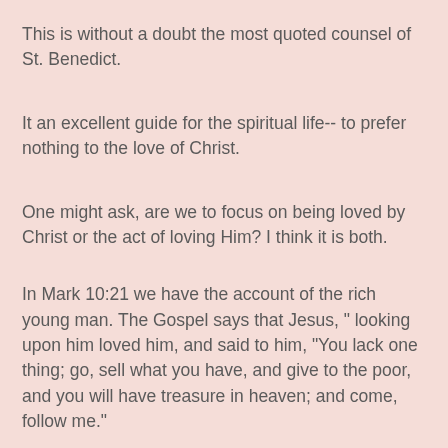This is without a doubt the most quoted counsel of St. Benedict.
It an excellent guide for the spiritual life-- to prefer nothing to the love of Christ.
One might ask, are we to focus on being loved by Christ or the act of loving Him? I think it is both.
In Mark 10:21 we have the account of the rich young man. The Gospel says that Jesus, " looking upon him loved him, and said to him, "You lack one thing; go, sell what you have, and give to the poor, and you will have treasure in heaven; and come, follow me."